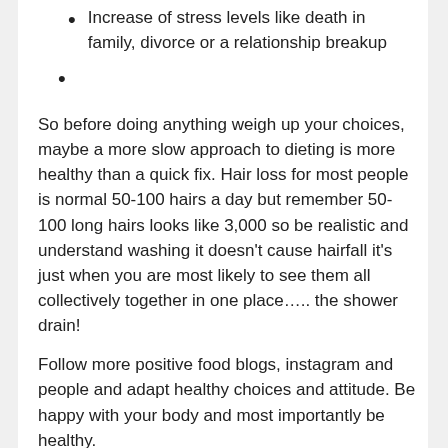Increase of stress levels like death in family, divorce or a relationship breakup
So before doing anything weigh up your choices, maybe a more slow approach to dieting is more healthy than a quick fix. Hair loss for most people is normal 50-100 hairs a day but remember 50-100 long hairs looks like 3,000 so be realistic and understand washing it doesn't cause hairfall it's just when you are most likely to see them all collectively together in one place….. the shower drain!
Follow more positive food blogs, instagram and people and adapt healthy choices and attitude. Be happy with your body and most importantly be healthy.